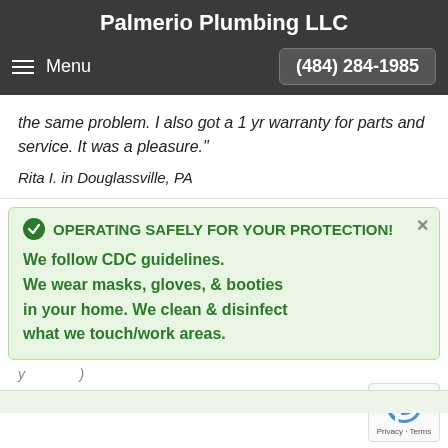Palmerio Plumbing LLC
Menu   (484) 284-1985
the same problem. I also got a 1 yr warranty for parts and service. It was a pleasure."
Rita I. in Douglassville, PA
OPERATING SAFELY FOR YOUR PROTECTION!
We follow CDC guidelines. We wear masks, gloves, & booties in your home. We clean & disinfect what we touch/work areas.